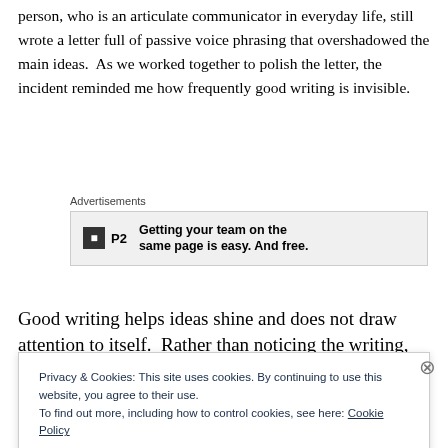person, who is an articulate communicator in everyday life, still wrote a letter full of passive voice phrasing that overshadowed the main ideas.  As we worked together to polish the letter, the incident reminded me how frequently good writing is invisible.
[Figure (other): Advertisement banner for P2 product: 'Getting your team on the same page is easy. And free.']
Good writing helps ideas shine and does not draw attention to itself.  Rather than noticing the writing, the
Privacy & Cookies: This site uses cookies. By continuing to use this website, you agree to their use.
To find out more, including how to control cookies, see here: Cookie Policy
Close and accept